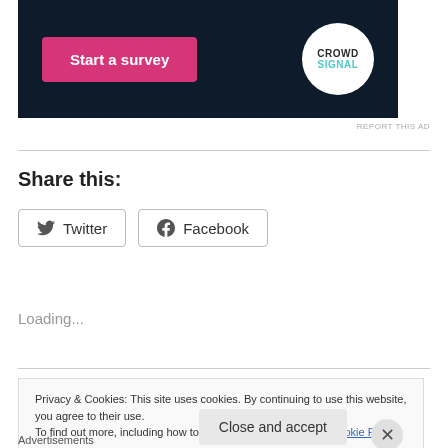[Figure (screenshot): Advertisement banner with dark navy background. Contains a pink 'Start a survey' button on the left and a circular white Crowdsignal logo on the right.]
REPORT THIS AD
Share this:
[Figure (screenshot): Two share buttons: Twitter (with Twitter bird icon) and Facebook (with Facebook icon)]
Loading...
Privacy & Cookies: This site uses cookies. By continuing to use this website, you agree to their use.
To find out more, including how to control cookies, see here: Cookie Policy
Close and accept
Advertisements